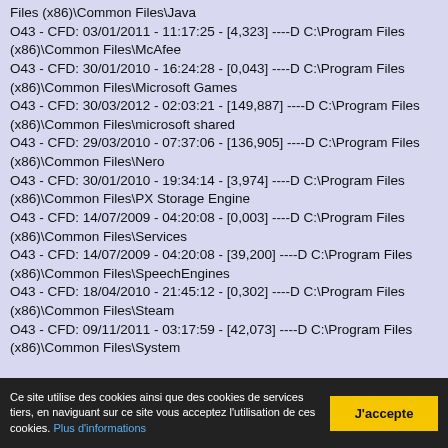Files (x86)\Common Files\Java
O43 - CFD: 03/01/2011 - 11:17:25 - [4,323] ----D C:\Program Files (x86)\Common Files\McAfee
O43 - CFD: 30/01/2010 - 16:24:28 - [0,043] ----D C:\Program Files (x86)\Common Files\Microsoft Games
O43 - CFD: 30/03/2012 - 02:03:21 - [149,887] ----D C:\Program Files (x86)\Common Files\microsoft shared
O43 - CFD: 29/03/2010 - 07:37:06 - [136,905] ----D C:\Program Files (x86)\Common Files\Nero
O43 - CFD: 30/01/2010 - 19:34:14 - [3,974] ----D C:\Program Files (x86)\Common Files\PX Storage Engine
O43 - CFD: 14/07/2009 - 04:20:08 - [0,003] ----D C:\Program Files (x86)\Common Files\Services
O43 - CFD: 14/07/2009 - 04:20:08 - [39,200] ----D C:\Program Files (x86)\Common Files\SpeechEngines
O43 - CFD: 18/04/2010 - 21:45:12 - [0,302] ----D C:\Program Files (x86)\Common Files\Steam
O43 - CFD: 09/11/2011 - 03:17:59 - [42,073] ----D C:\Program Files (x86)\Common Files\System
Ce site utilise des cookies ainsi que des cookies de services tiers, en naviguant sur ce site vous acceptez l'utilisation de ces cookies. Plus d'informations